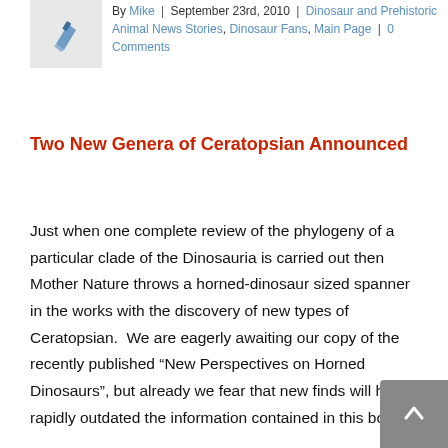[Figure (illustration): Gray box with a blue pen/pencil icon representing an article thumbnail image]
By Mike | September 23rd, 2010 | Dinosaur and Prehistoric Animal News Stories, Dinosaur Fans, Main Page | 0 Comments
Two New Genera of Ceratopsian Announced
Just when one complete review of the phylogeny of a particular clade of the Dinosauria is carried out then Mother Nature throws a horned-dinosaur sized spanner in the works with the discovery of new types of Ceratopsian.  We are eagerly awaiting our copy of the recently published “New Perspectives on Horned Dinosaurs”, but already we fear that new finds will have rapidly outdated the information contained in this book.